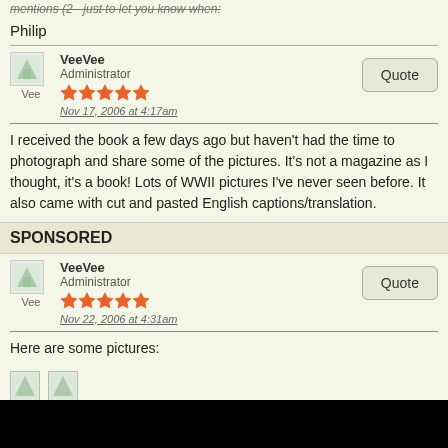Philip
VeeVee
Administrator
Nov 17, 2006 at 4:17am
I received the book a few days ago but haven't had the time to photograph and share some of the pictures. It's not a magazine as I thought, it's a book! Lots of WWII pictures I've never seen before. It also came with cut and pasted English captions/translation.
SPONSORED
VeeVee
Administrator
Nov 22, 2006 at 4:31am
Here are some pictures: